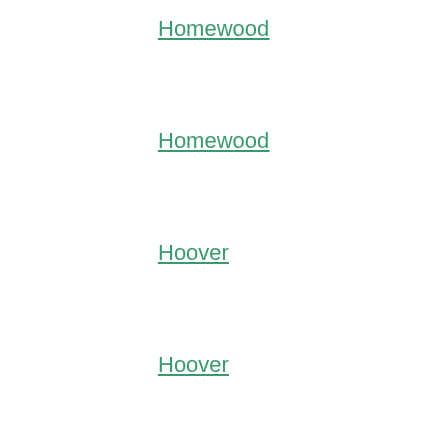Homewood
Homewood
Hoover
Hoover
Hueytown
Huntsville
Irondale
Jacksonville
Jasper
Leeds